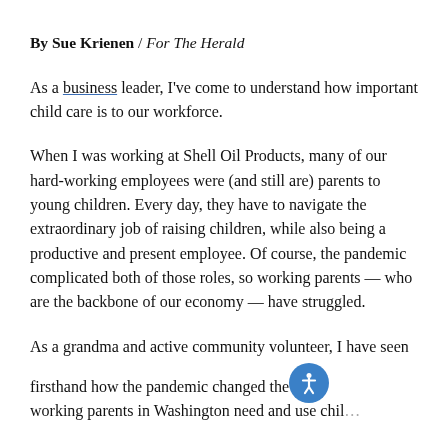By Sue Krienen / For The Herald
As a business leader, I've come to understand how important child care is to our workforce.
When I was working at Shell Oil Products, many of our hard-working employees were (and still are) parents to young children. Every day, they have to navigate the extraordinary job of raising children, while also being a productive and present employee. Of course, the pandemic complicated both of those roles, so working parents — who are the backbone of our economy — have struggled.
As a grandma and active community volunteer, I have seen firsthand how the pandemic changed the working parents in Washington need and use chil…